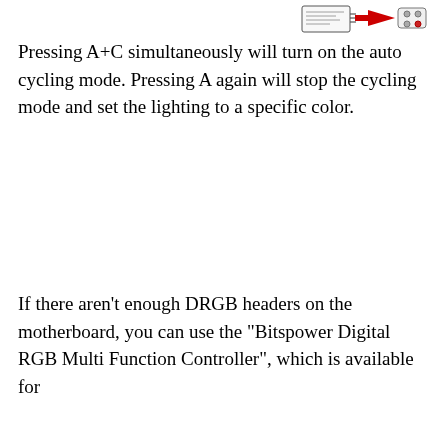[Figure (illustration): Small line-art illustration of a controller/remote device with a red arrow pointing right, suggesting a button press action]
Pressing A+C simultaneously will turn on the auto cycling mode. Pressing A again will stop the cycling mode and set the lighting to a specific color.
If there aren't enough DRGB headers on the motherboard, you can use the "Bitspower Digital RGB Multi Function Controller", which is available for